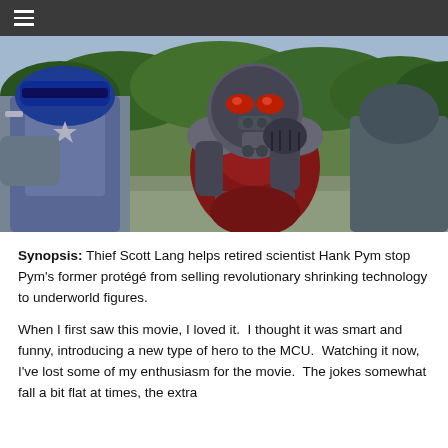☰
[Figure (photo): Scene from Ant-Man movie: Ant-Man in red and silver suit facing Captain America (seen from behind) outdoors with green trees in background]
Synopsis: Thief Scott Lang helps retired scientist Hank Pym stop Pym's former protégé from selling revolutionary shrinking technology to underworld figures.
When I first saw this movie, I loved it.  I thought it was smart and funny, introducing a new type of hero to the MCU.  Watching it now, I've lost some of my enthusiasm for the movie.  The jokes somewhat fall a bit flat at times, the extra